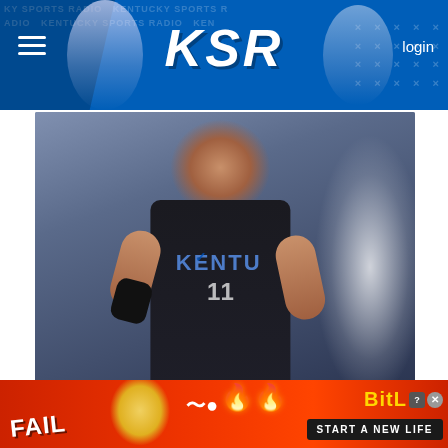KSR - Kentucky Sports Radio
[Figure (photo): Kentucky volleyball player in dark jersey smiling on court, white blurred figure in background]
KSR VOLLEYBALL
Kentucky volleyball bumped to No. 14; Reagan Rutherford named SEC POTW
Coming off a successful weekend in Omaha, Craig Skinner's squad is earning plenty of praise. On
[Figure (advertisement): BitLife game advertisement with red background, FAIL text, cartoon character, and START A NEW LIFE button]